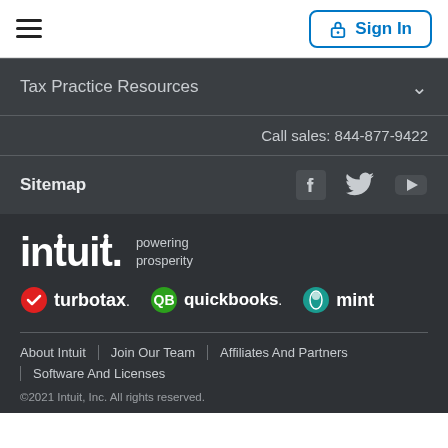[Figure (screenshot): White header bar with hamburger menu icon on left and Sign In button on right]
Tax Practice Resources
Call sales: 844-877-9422
Sitemap
[Figure (logo): Intuit logo with 'powering prosperity' tagline, TurboTax, QuickBooks, and Mint brand logos]
About Intuit | Join Our Team | Affiliates And Partners | Software And Licenses
©2021 Intuit, Inc. All rights reserved.